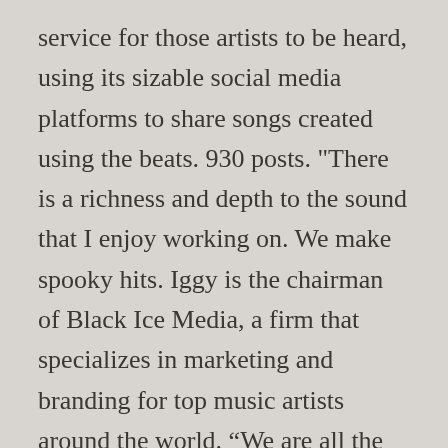service for those artists to be heard, using its sizable social media platforms to share songs created using the beats. 930 posts. "There is a richness and depth to the sound that I enjoy working on. We make spooky hits. Iggy is the chairman of Black Ice Media, a firm that specializes in marketing and branding for top music artists around the world. “We are all the product of divine creativity. This website is estimated worth of $ 8.95 and have a daily income of around $ 0.15. “The role of an artist is simply to perceive what is already there, and to have the skill to present it as a perfect gift-wrapped slice of truth; To pluck a pebble from the sea bed and hold it up to the light for